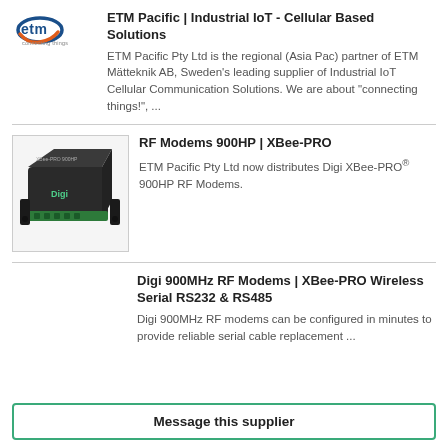[Figure (logo): ETM Pacific logo with blue orbital design and 'connecting things' tagline]
ETM Pacific | Industrial IoT - Cellular Based Solutions
ETM Pacific Pty Ltd is the regional (Asia Pac) partner of ETM Mätteknik AB, Sweden's leading supplier of Industrial IoT Cellular Communication Solutions. We are about "connecting things!", ...
[Figure (photo): Black Digi XBee-PRO 900HP RF Modem device with green terminal connectors]
RF Modems 900HP | XBee-PRO
ETM Pacific Pty Ltd now distributes Digi XBee-PRO® 900HP RF Modems.
Digi 900MHz RF Modems | XBee-PRO Wireless Serial RS232 & RS485
Digi 900MHz RF modems can be configured in minutes to provide reliable serial cable replacement ...
Message this supplier